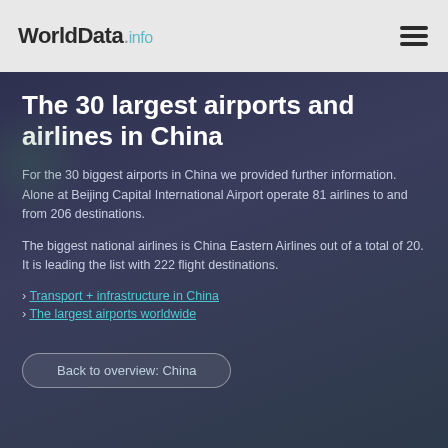WorldData.info
The 30 largest airports and airlines in China
For the 30 biggest airports in China we provided further information. Alone at Beijing Capital International Airport operate 81 airlines to and from 206 destinations.
The biggest national airlines is China Eastern Airlines out of a total of 20. It is leading the list with 222 flight destinations.
› Transport + infrastructure in China
› The largest airports worldwide
Back to overview: China